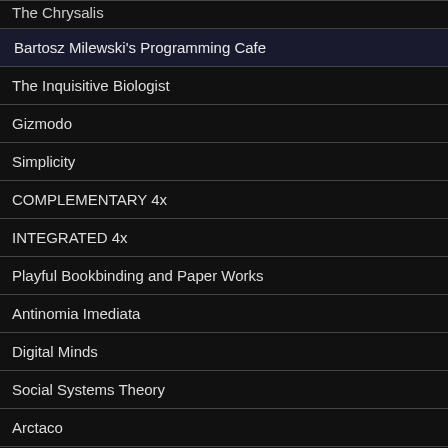The Chrysalis
Bartosz Milewski's Programming Cafe
The Inquisitive Biologist
Gizmodo
Simplicity
COMPLEMENTARY 4x
INTEGRATED 4x
Playful Bookbinding and Paper Works
Antinomia Imediata
Digital Minds
Social Systems Theory
Arctaco
philosophy maps